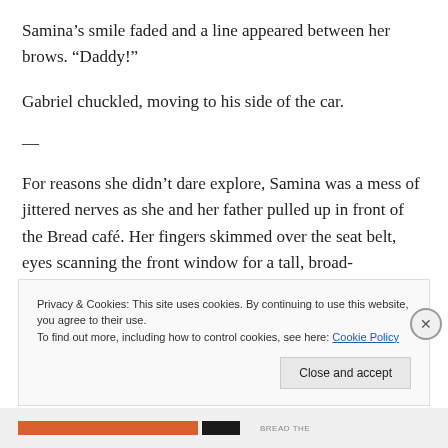Samina’s smile faded and a line appeared between her brows. “Daddy!”
Gabriel chuckled, moving to his side of the car.
—
For reasons she didn’t dare explore, Samina was a mess of jittered nerves as she and her father pulled up in front of the Bread café. Her fingers skimmed over the seat belt, eyes scanning the front window for a tall, broad-shouldered man. Inadvertently, her heart skipped several
Privacy & Cookies: This site uses cookies. By continuing to use this website, you agree to their use.
To find out more, including how to control cookies, see here: Cookie Policy
Close and accept